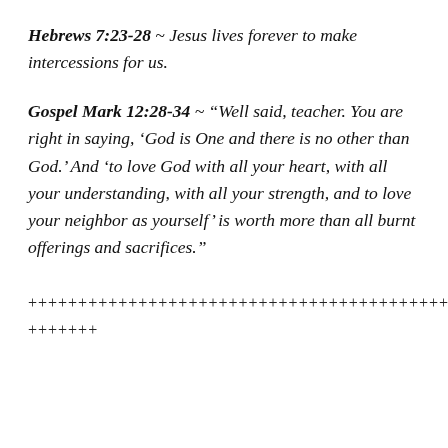Hebrews 7:23-28 ~ Jesus lives forever to make intercessions for us.
Gospel Mark 12:28-34 ~ “Well said, teacher. You are right in saying, ‘God is One and there is no other than God.’ And ‘to love God with all your heart, with all your understanding, with all your strength, and to love your neighbor as yourself’ is worth more than all burnt offerings and sacrifices.”
+++++++++++++++++++++++++++++++++++++++++++++++